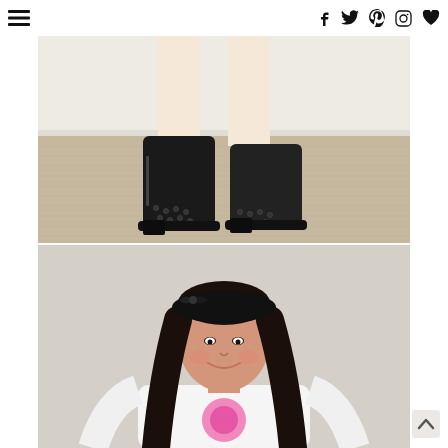navigation and social icons (menu, facebook, twitter, pinterest, instagram, heart)
[Figure (photo): Close-up photo of person's lower legs and feet wearing black studded ankle boots on a carpeted floor with white wall in background]
[Figure (photo): Portrait photo of a young Asian woman smiling, wearing a black headband/beret with bow, white t-shirt with pink graphic, long dark hair, neutral wall background]